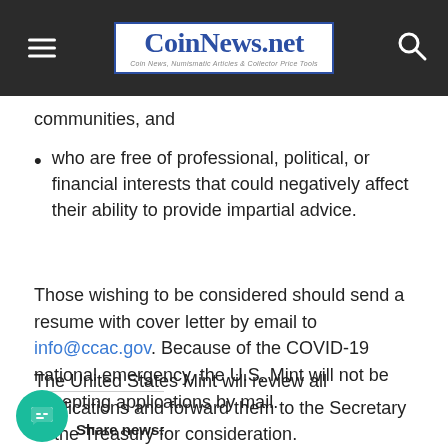CoinNews.net — Coin News, Numismatic Articles & Collector Price Tools
communities, and
who are free of professional, political, or financial interests that could negatively affect their ability to provide impartial advice.
Those wishing to be considered should send a resume with cover letter by email to info@ccac.gov. Because of the COVID-19 national emergency, the U.S. Mint will not be accepting applications by mail.
The United States Mint will review all applications and forward them to the Secretary of the Treasury for consideration.
Share news: